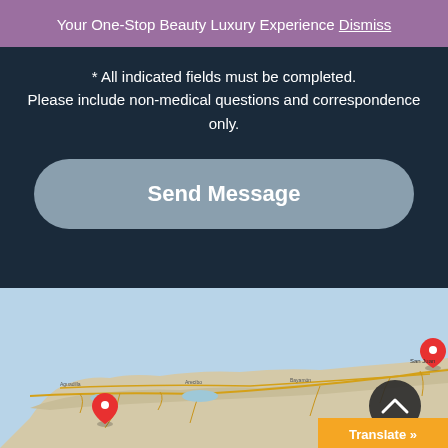Your One-Stop Beauty Luxury Experience Dismiss
* All indicated fields must be completed. Please include non-medical questions and correspondence only.
[Figure (other): Send Message button — large rounded rectangular button with steel blue background and white bold text reading 'Send Message']
[Figure (map): Google Maps view showing a coastal map of Puerto Rico with road networks, two red location pin markers (one near San Juan in the northeast and one in the southwest corner), a dark scroll-to-top circle button with a caret/arrow up icon, and an orange Translate button in the bottom-right corner.]